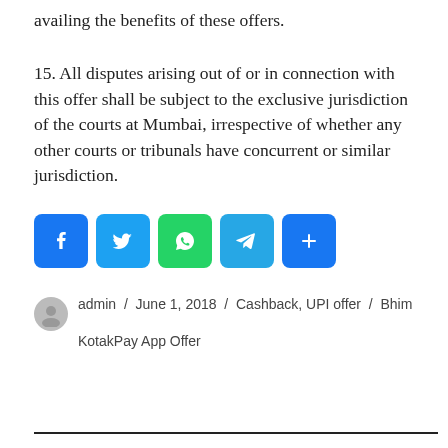availing the benefits of these offers.
15. All disputes arising out of or in connection with this offer shall be subject to the exclusive jurisdiction of the courts at Mumbai, irrespective of whether any other courts or tribunals have concurrent or similar jurisdiction.
[Figure (infographic): Social share buttons: Facebook, Twitter, WhatsApp, Telegram, Share]
admin / June 1, 2018 / Cashback, UPI offer / Bhim KotakPay App Offer